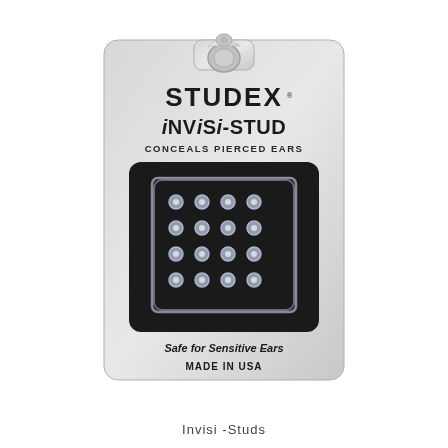[Figure (photo): Product packaging for Studex iNViSi-STUD earrings. A blister card package with a hanger hole at top, light gray/silver card with black rounded-square window showing clear/transparent stud earrings on a black background. Text on package reads: STUDEX, iNViSi-STUD, CONCEALS PIERCED EARS, Safe for Sensitive Ears, MADE IN USA.]
Invisi -Studs